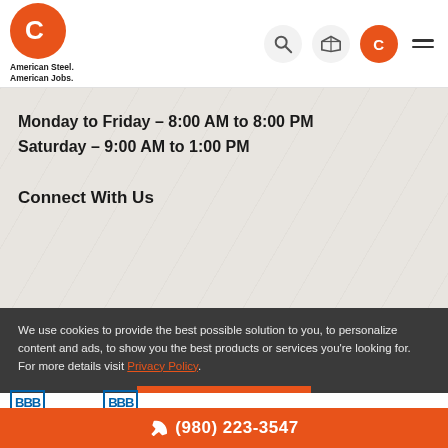American Steel. American Jobs.
Monday to Friday - 8:00 AM to 8:00 PM
Saturday - 9:00 AM to 1:00 PM
Connect With Us
We use cookies to provide the best possible solution to you, to personalize content and ads, to show you the best products or services you're looking for. For more details visit Privacy Policy.
OK, THANKS
(980) 223-3547